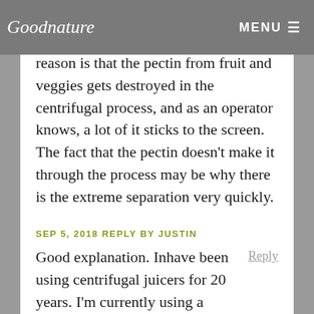Goodnature | MENU
which may be the main issue. My father, Dale, believes that another reason is that the pectin from fruit and veggies gets destroyed in the centrifugal process, and as an operator knows, a lot of it sticks to the screen. The fact that the pectin doesn't make it through the process may be why there is the extreme separation very quickly.
SEP 5, 2018 REPLY BY JUSTIN
Good explanation. Inhave been using centrifugal juicers for 20 years. I'm currently using a Breville for the last 13 or 14 years. Cold Press is marketing hype. If you drink your juice right away, cold press isn't any better. I am definitely healthier...